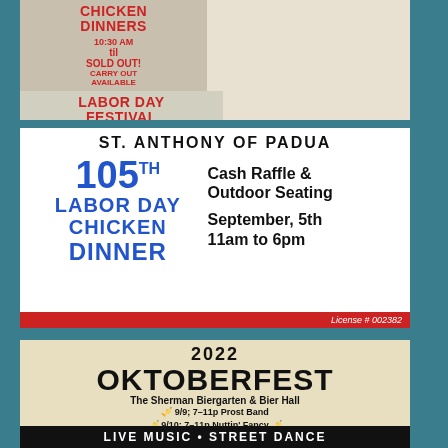[Figure (infographic): Ad for Chicken Dinners and Labor Day Festival. Left side: CHICKEN DINNERS, 10:30 AM til SOLD OUT! CARRY OUT AVAILABLE. Right side: LABOR DAY FESTIVAL, RAFFLES, GAMES, QUILTS, COUNTRY STORE, BASKETS.]
[Figure (infographic): St. Anthony of Padua 105th Labor Day Chicken Dinner ad. Cash Raffle & Outdoor Seating. September, 5th 11am to 6pm. License # 002382.]
[Figure (infographic): 2022 Oktoberfest at The Sherman Biergarten & Bier Hall. 9/9; 7-11p Prost Band. 9/10; 7-11p Nuttin' Fancy. LIVE MUSIC • STREET DANCE.]